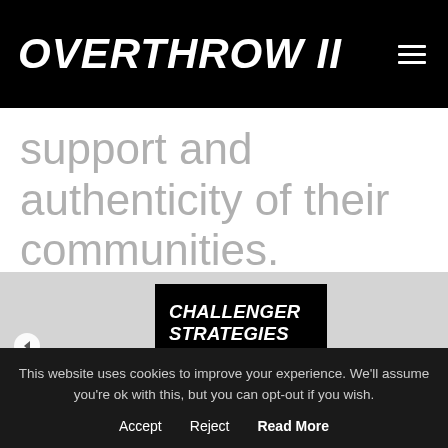OVERTHROW II
support and authenticity of their communities.
[Figure (screenshot): A slider/carousel panel with a dark gray background. On the left is a white circle arrow button. In the center is a black book cover card with bold white uppercase italic text reading: CHALLENGER STRATEGIES FOR A NEW ERA]
This website uses cookies to improve your experience. We'll assume you're ok with this, but you can opt-out if you wish.
Accept   Reject   Read More